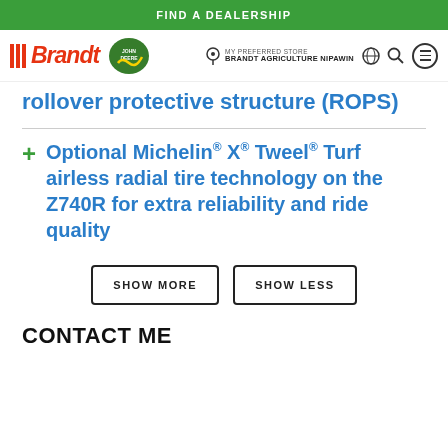FIND A DEALERSHIP
[Figure (logo): Brandt and John Deere logos with navigation bar including MY PREFERRED STORE BRANDT AGRICULTURE NIPAWIN]
rollover protective structure (ROPS)
Optional Michelin® X® Tweel® Turf airless radial tire technology on the Z740R for extra reliability and ride quality
SHOW MORE   SHOW LESS
CONTACT ME